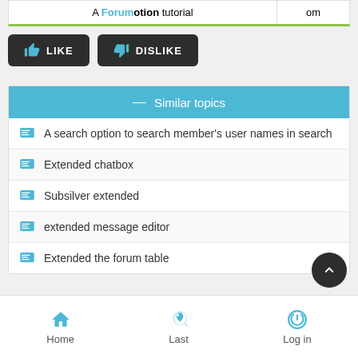A Forumotion tutorial | om
[Figure (screenshot): LIKE and DISLIKE buttons with thumbs-up and thumbs-down icons on dark rounded buttons]
Similar topics
A search option to search member's user names in search
Extended chatbox
Subsilver extended
extended message editor
Extended the forum table
Home  Last  Log in